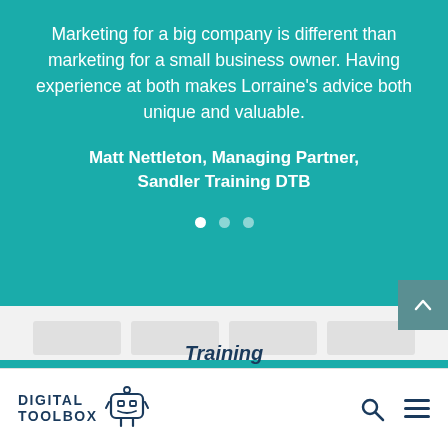Marketing for a big company is different than marketing for a small business owner. Having experience at both makes Lorraine's advice both unique and valuable.
Matt Nettleton, Managing Partner, Sandler Training DTB
[Figure (other): Carousel navigation dots — three dots with the first (leftmost) active/filled white and two semi-transparent]
[Figure (other): Scroll-to-top button (dark teal square with upward arrow chevron) in bottom-right of teal section]
Training
[Figure (logo): Digital Toolbox logo — text DIGITAL TOOLBOX with a robot/toolbox icon to the right]
[Figure (other): Navigation bar icons — magnifying glass search icon and hamburger menu icon]